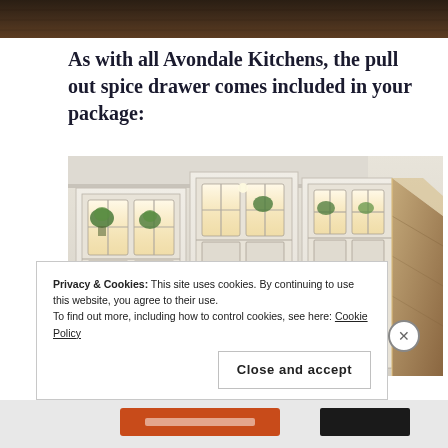[Figure (photo): Top strip of a dark wood floor or counter surface, cropped at the top of the page]
As with all Avondale Kitchens, the pull out spice drawer comes included in your package:
[Figure (photo): Kitchen cabinets with glass-paned doors in white/cream finish, corner cabinet arrangement with interior lighting showing plants inside; wooden range hood visible on right]
Privacy & Cookies: This site uses cookies. By continuing to use this website, you agree to their use.
To find out more, including how to control cookies, see here: Cookie Policy
Close and accept